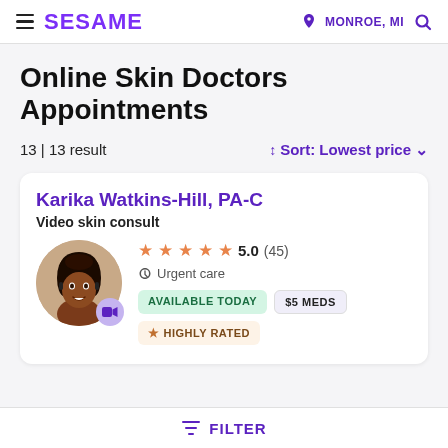SESAME | MONROE, MI
Online Skin Doctors Appointments
13 | 13 result
Sort: Lowest price
Karika Watkins-Hill, PA-C
Video skin consult
5.0 (45)
Urgent care
AVAILABLE TODAY | $5 MEDS | HIGHLY RATED
FILTER